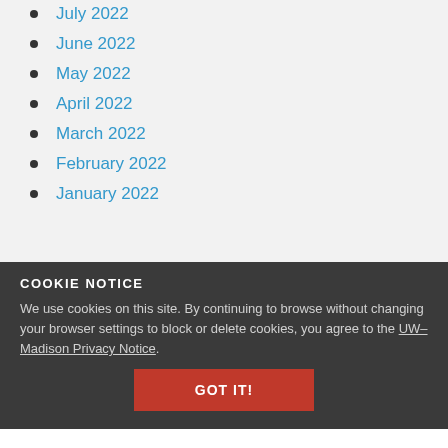July 2022
June 2022
May 2022
April 2022
March 2022
February 2022
January 2022
COOKIE NOTICE
We use cookies on this site. By continuing to browse without changing your browser settings to block or delete cookies, you agree to the UW–Madison Privacy Notice.
September 2021
August 2021